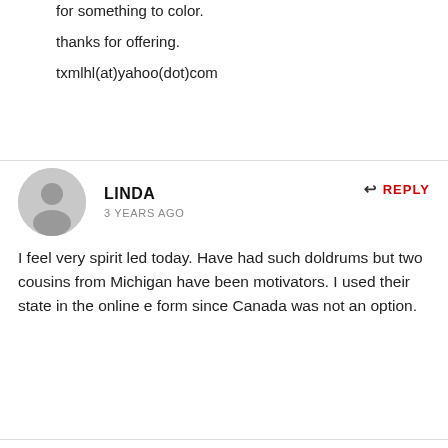for something to color.
thanks for offering.
txmlhl(at)yahoo(dot)com
LINDA
3 YEARS AGO
REPLY
I feel very spirit led today. Have had such doldrums but two cousins from Michigan have been motivators. I used their state in the online e form since Canada was not an option.